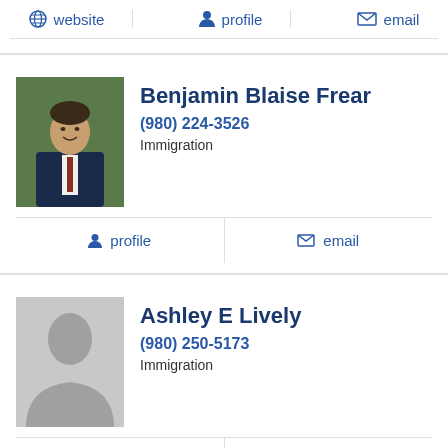website | profile | email
Benjamin Blaise Frear
(980) 224-3526
Immigration
profile | email
Ashley E Lively
(980) 250-5173
Immigration
profile | email
Ben Snyder